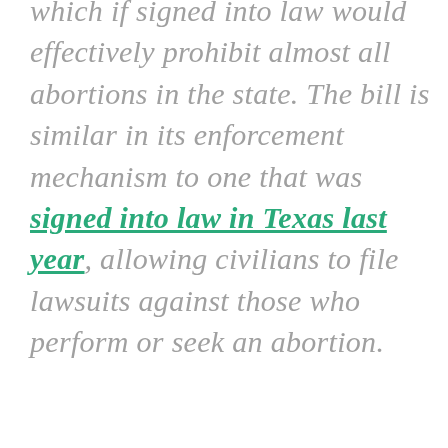which if signed into law would effectively prohibit almost all abortions in the state. The bill is similar in its enforcement mechanism to one that was signed into law in Texas last year, allowing civilians to file lawsuits against those who perform or seek an abortion.